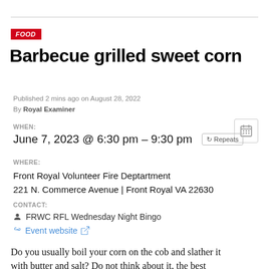FOOD
Barbecue grilled sweet corn
Published 2 mins ago on August 28, 2022
By Royal Examiner
WHEN:
June 7, 2023 @ 6:30 pm – 9:30 pm  Repeats
WHERE:
Front Royal Volunteer Fire Deptartment
221 N. Commerce Avenue | Front Royal VA 22630
CONTACT:
FRWC RFL Wednesday Night Bingo
Event website
Do you usually boil your corn on the cob and slather it with butter and salt? Do not think about it, the best